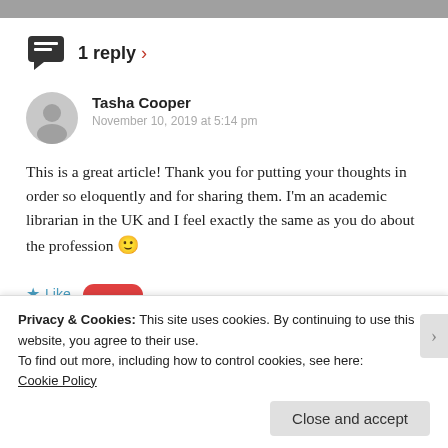1 reply ›
Tasha Cooper
November 10, 2019 at 5:14 pm
This is a great article! Thank you for putting your thoughts in order so eloquently and for sharing them. I'm an academic librarian in the UK and I feel exactly the same as you do about the profession 🙂
★ Like
Privacy & Cookies: This site uses cookies. By continuing to use this website, you agree to their use.
To find out more, including how to control cookies, see here:
Cookie Policy
Close and accept